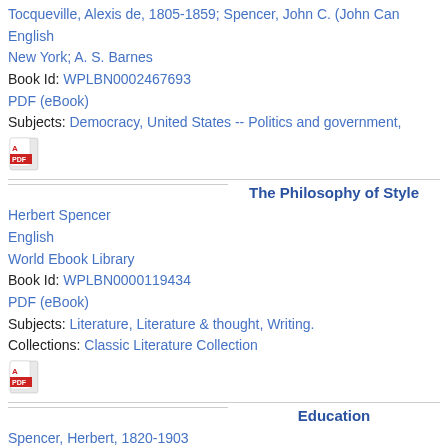Tocqueville, Alexis de, 1805-1859; Spencer, John C. (John Can
English
New York; A. S. Barnes
Book Id: WPLBN0002467693
PDF (eBook)
Subjects: Democracy, United States -- Politics and government,
[Figure (other): PDF icon (red Adobe PDF logo)]
The Philosophy of Style
Herbert Spencer
English
World Ebook Library
Book Id: WPLBN0000119434
PDF (eBook)
Subjects: Literature, Literature & thought, Writing.
Collections: Classic Literature Collection
[Figure (other): PDF icon (red Adobe PDF logo)]
Education
Spencer, Herbert, 1820-1903